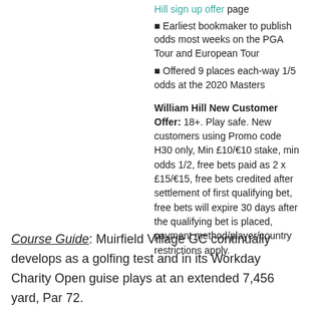Hill sign up offer page
Earliest bookmaker to publish odds most weeks on the PGA Tour and European Tour
Offered 9 places each-way 1/5 odds at the 2020 Masters
William Hill New Customer Offer: 18+. Play safe. New customers using Promo code H30 only, Min £10/€10 stake, min odds 1/2, free bets paid as 2 x £15/€15, free bets credited after settlement of first qualifying bet, free bets will expire 30 days after the qualifying bet is placed, payment method/player/country restrictions apply.
Course Guide: Muirfield Village GC continually develops as a golfing test and in its Workday Charity Open guise plays at an extended 7,456 yard, Par 72.